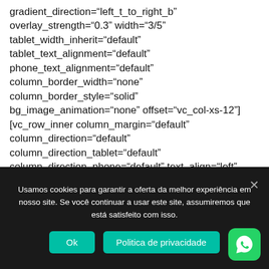gradient_direction="left_t_to_right_b" overlay_strength="0.3" width="3/5" tablet_width_inherit="default" tablet_text_alignment="default" phone_text_alignment="default" column_border_width="none" column_border_style="solid" bg_image_animation="none" offset="vc_col-xs-12"][vc_row_inner column_margin="default" column_direction="default" column_direction_tablet="default" column_direction_phone="default" text_align="left" min_width="47vh"][vc_column_inner column_padding="no-extra-padding"
Usamos cookies para garantir a oferta da melhor experiência em nosso site. Se você continuar a usar este site, assumiremos que está satisfeito com isso.
Ok   Politica de privacidade